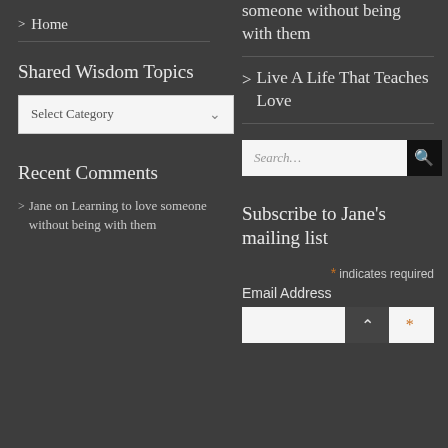> Home
> someone without being with them
> Live A Life That Teaches Love
Shared Wisdom Topics
Select Category
[Figure (screenshot): Search input box with search button]
Subscribe to Jane's mailing list
* indicates required
Email Address
Recent Comments
> Jane on Learning to love someone without being with them